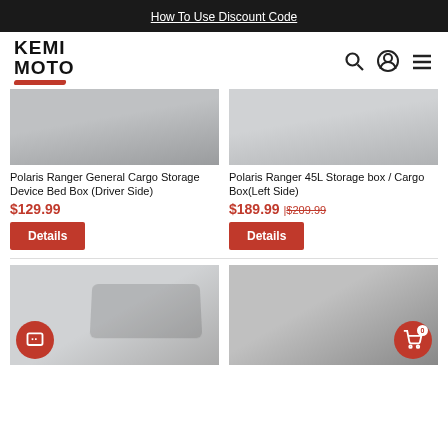How To Use Discount Code
[Figure (logo): KEMI MOTO logo with red underline stroke]
Polaris Ranger General Cargo Storage Device Bed Box (Driver Side)
$129.99
Details
Polaris Ranger 45L Storage box / Cargo Box(Left Side)
$189.99 | $209.99
Details
[Figure (photo): Bottom left product image - storage/cargo box on UTV bed]
[Figure (photo): Bottom right product image - UTV cargo storage with yellow strap]